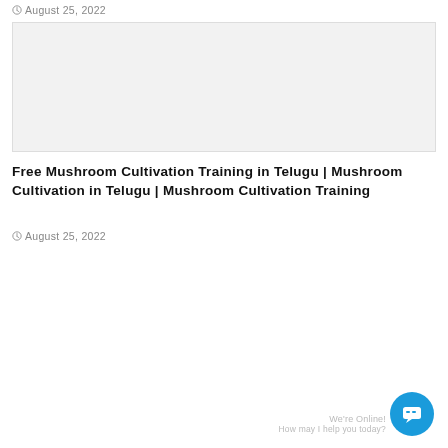August 25, 2022
[Figure (photo): Gray placeholder image box]
Free Mushroom Cultivation Training in Telugu | Mushroom Cultivation in Telugu | Mushroom Cultivation Training
August 25, 2022